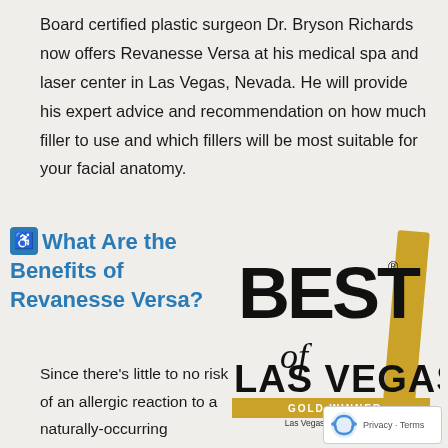Board certified plastic surgeon Dr. Bryson Richards now offers Revanesse Versa at his medical spa and laser center in Las Vegas, Nevada. He will provide his expert advice and recommendation on how much filler to use and which fillers will be most suitable for your facial anatomy.
What Are the Benefits of Revanesse Versa?
[Figure (logo): Best of Las Vegas Gold Winner award logo with gold diagonal bar, Las Vegas Review-Journal bestoflasvegas.com]
Since there's little to no risk of an allergic reaction to a naturally-occurring substance like hyaluronic acid, most
[Figure (logo): Google reCAPTCHA privacy badge with rotating arrows icon]